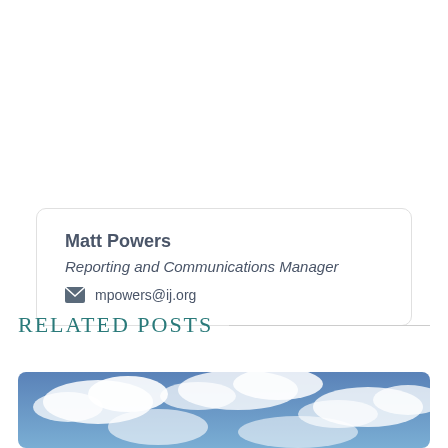Matt Powers
Reporting and Communications Manager
mpowers@ij.org
RELATED POSTS
[Figure (photo): Sky with white clouds on blue background]